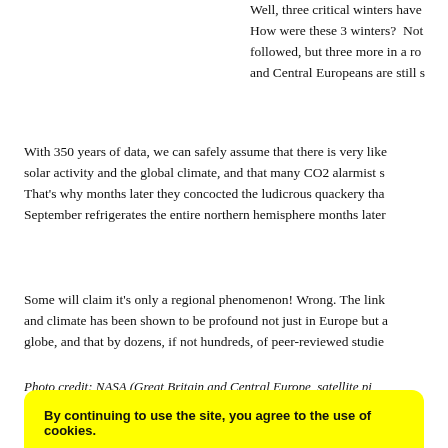Well, three critical winters have [continued]. How were these 3 winters? Not [just the ones that] followed, but three more in a ro[w]... and Central Europeans are still s[uffering].
With 350 years of data, we can safely assume that there is very like[ly a link between] solar activity and the global climate, and that many CO2 alarmist s[cientists know it]. That's why months later they concocted the ludicrous quackery tha[t Arctic ice loss in] September refrigerates the entire northern hemisphere months later[].
Some will claim it's only a regional phenomenon! Wrong. The link[age between solar] and climate has been shown to be profound not just in Europe but a[cross the entire] globe, and that by dozens, if not hundreds, of peer-reviewed studie[s].
Photo credit: NASA (Great Britain and Central Europe, satellite pi[cture, December 2010)
By continuing to use the site, you agree to the use of cookies.
more information   Accept